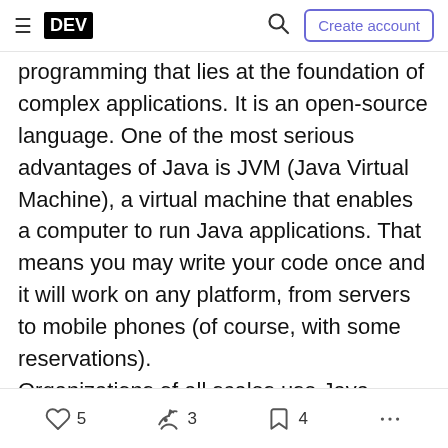DEV | Create account
programming that lies at the foundation of complex applications. It is an open-source language. One of the most serious advantages of Java is JVM (Java Virtual Machine), a virtual machine that enables a computer to run Java applications. That means you may write your code once and it will work on any platform, from servers to mobile phones (of course, with some reservations).
Organizations of all scales use Java, translating into a lucrative career option. Java programmers have a dynamic job market where quality programmers are always welcome.
5  3  4  ...